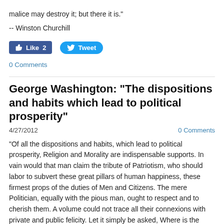malice may destroy it; but there it is."
-- Winston Churchill
[Figure (other): Facebook Like button showing 2 likes and Twitter Tweet button]
0 Comments
George Washington: "The dispositions and habits which lead to political prosperity"
4/27/2012
0 Comments
"Of all the dispositions and habits, which lead to political prosperity, Religion and Morality are indispensable supports. In vain would that man claim the tribute of Patriotism, who should labor to subvert these great pillars of human happiness, these firmest props of the duties of Men and Citizens. The mere Politician, equally with the pious man, ought to respect and to cherish them. A volume could not trace all their connexions with private and public felicity. Let it simply be asked, Where is the security for property, for reputation, for life, if the sense